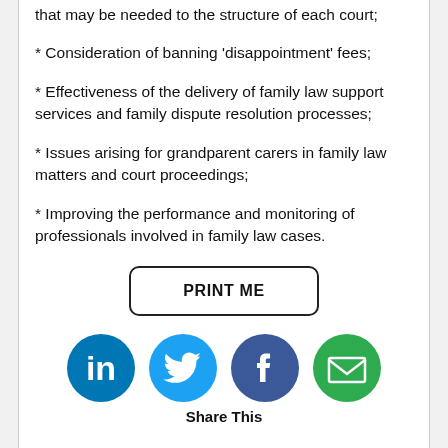that may be needed to the structure of each court;
* Consideration of banning ‘disappointment’ fees;
* Effectiveness of the delivery of family law support services and family dispute resolution processes;
* Issues arising for grandparent carers in family law matters and court proceedings;
* Improving the performance and monitoring of professionals involved in family law cases.
[Figure (other): PRINT ME button with rounded rectangle border]
[Figure (other): Social sharing icons: LinkedIn (blue circle with 'in'), Twitter (light blue circle with bird), Facebook (blue circle with 'f'), Email (green circle with envelope). Below icons: 'Share This' label.]